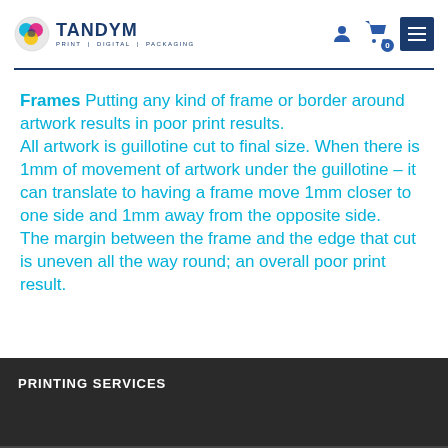TANDYM PRINT | DIGITAL | PACKAGING
Frames Putting any kind of frame or border around artwork results in poor print results. All artwork is guillotine cut to final size. When there is 1mm of movement of artwork under the guillotine - it can translate to having a frame move 1mm closer to one side and 1mm away from the opposite side. The margin between the frame and the edge that cut is uneven all the way round; an overall poor print result.
PRINTING SERVICES